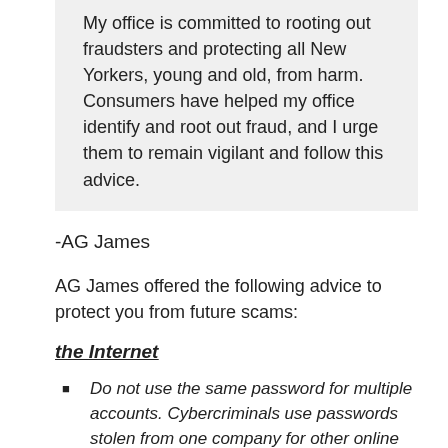My office is committed to rooting out fraudsters and protecting all New Yorkers, young and old, from harm. Consumers have helped my office identify and root out fraud, and I urge them to remain vigilant and follow this advice.
-AG James
AG James offered the following advice to protect you from future scams:
the Internet
Do not use the same password for multiple accounts. Cybercriminals use passwords stolen from one company for other online accounts. Earlier this year, Attorney General James announced that a thorough investigation by his office identified more than 1.1 million online accounts compromised in cyber-